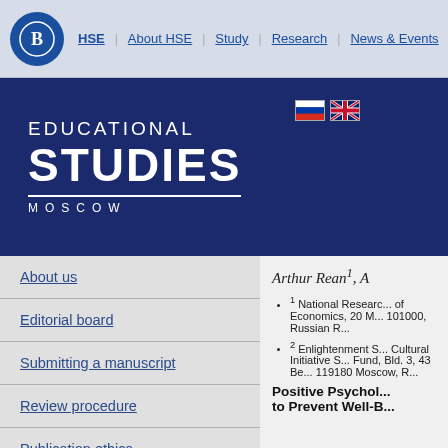HSE | About HSE | Study | Research | News & Events | Hide
[Figure (logo): HSE Educational Studies Moscow journal logo with blue banner, Russian and UK flags]
About us
Editorial board
Submitting a manuscript
Review procedure
Publication ethics
Arthur Rean1, A
1 National Research University Higher School of Economics, 20 M..., 101000, Russian R...
2 Enlightenment S... Cultural Initiative S... Fund, Bld. 3, 43 Be..., 119180 Moscow, R...
Positive Psychol... to Prevent Well-B...